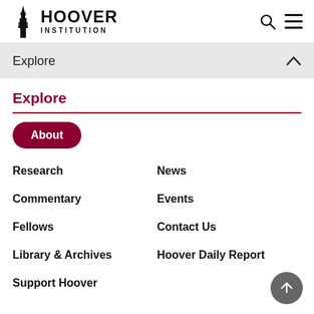HOOVER INSTITUTION
Explore
Explore
About
Research
News
Commentary
Events
Fellows
Contact Us
Library & Archives
Hoover Daily Report
Support Hoover